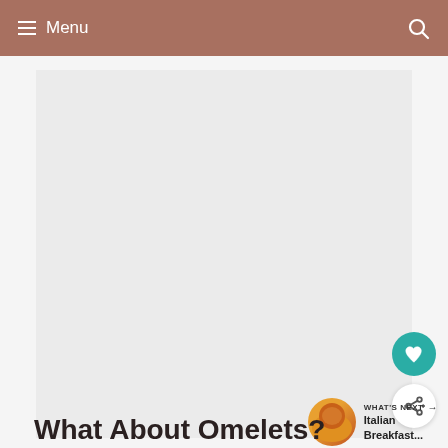Menu
[Figure (photo): Large light gray placeholder image area for a food article]
[Figure (photo): Circular thumbnail of Italian Breakfast dish]
WHAT'S NEXT → Italian Breakfast...
What About Omelets?